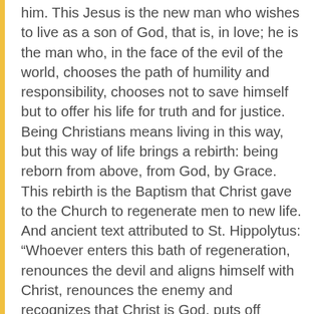him. This Jesus is the new man who wishes to live as a son of God, that is, in love; he is the man who, in the face of the evil of the world, chooses the path of humility and responsibility, chooses not to save himself but to offer his life for truth and for justice. Being Christians means living in this way, but this way of life brings a rebirth: being reborn from above, from God, by Grace. This rebirth is the Baptism that Christ gave to the Church to regenerate men to new life. And ancient text attributed to St. Hippolytus: “Whoever enters this bath of regeneration, renounces the devil and aligns himself with Christ, renounces the enemy and recognizes that Christ is God, puts off slavery and puts on the filial adoption” (Sermon for Epiphany, 10: PG, 10 862).
Following this line of thought, the dialogue of...